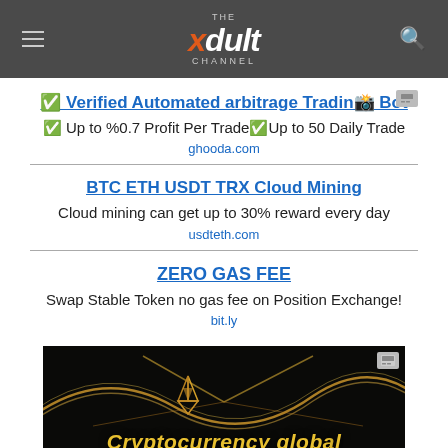THE xdult CHANNEL
✅ Verified Automated arbitrage Trading Bot
✅ Up to %0.7 Profit Per Trade✅Up to 50 Daily Trade
ghooda.com
BTC ETH USDT TRX Cloud Mining
Cloud mining can get up to 30% reward every day
usdteth.com
ZERO GAS FEE
Swap Stable Token no gas fee on Position Exchange!
bit.ly
[Figure (illustration): Cryptocurrency global banner with golden geometric logo and glowing wave lines on dark background, text 'Cryptocurrency global']